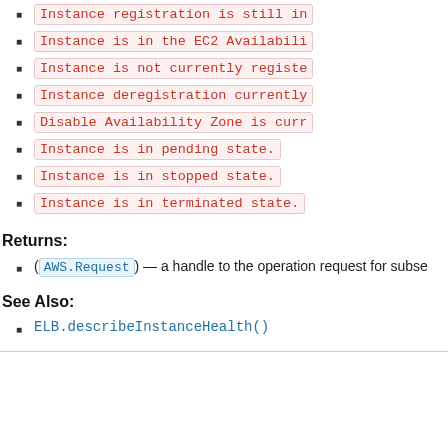Instance registration is still in
Instance is in the EC2 Availabili
Instance is not currently registe
Instance deregistration currently
Disable Availability Zone is curr
Instance is in pending state.
Instance is in stopped state.
Instance is in terminated state.
Returns:
(AWS.Request) — a handle to the operation request for subse
See Also:
ELB.describeInstanceHealth()